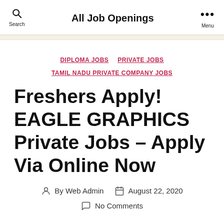All Job Openings
DIPLOMA JOBS  PRIVATE JOBS  TAMIL NADU PRIVATE COMPANY JOBS
Freshers Apply! EAGLE GRAPHICS Private Jobs – Apply Via Online Now
By Web Admin   August 22, 2020   No Comments